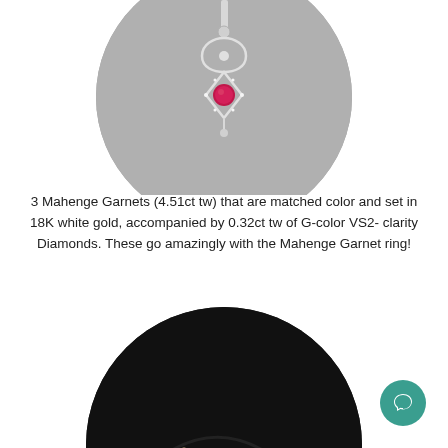[Figure (photo): Close-up of a diamond and garnet pendant necklace in 18K white gold, showing an infinity/marquise shaped pendant with a pink/red Mahenge Garnet center stone, set on a mannequin display.]
3 Mahenge Garnets (4.51ct tw) that are matched color and set in 18K white gold, accompanied by 0.32ct tw of G-color VS2-clarity Diamonds. These go amazingly with the Mahenge Garnet ring!
[Figure (photo): Close-up photo of two flower-shaped garnet and diamond earrings with pink center stones surrounded by small round diamond halos, displayed on a black velvet surface.]